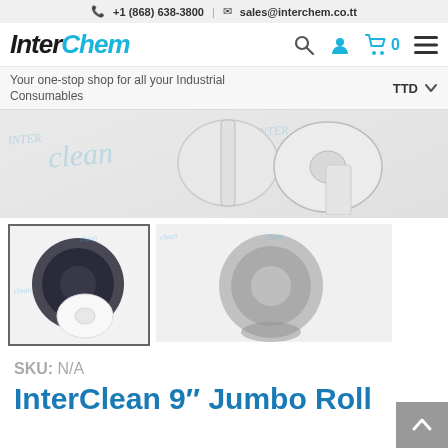+1 (868) 638-3800 | sales@interchem.co.tt
[Figure (logo): InterChem logo — Inter in black bold italic, Chem in cyan bold italic]
Your one-stop shop for all your Industrial Consumables
TTD
[Figure (photo): Main product image showing InterClean branded toilet paper rolls on light grey background with InterClean watermark]
[Figure (photo): Thumbnail (selected, with dark border): dark/smoke-colored jumbo roll toilet paper dispenser with white toilet paper roll. Second image: grey jumbo roll dispenser without paper]
SKU: N/A
InterClean 9″ Jumbo Roll